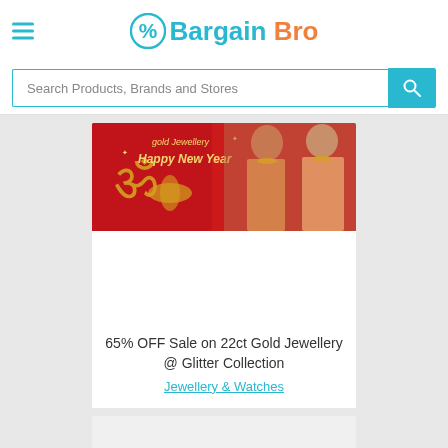Bargain Bro
Search Products, Brands and Stores
[Figure (photo): Gold Jewellery Happy New Year promotional banner with two women wearing gold jewellery on red background]
65% OFF Sale on 22ct Gold Jewellery @ Glitter Collection
Jewellery & Watches
[Figure (photo): Second product card image area (partially visible, content not loaded)]